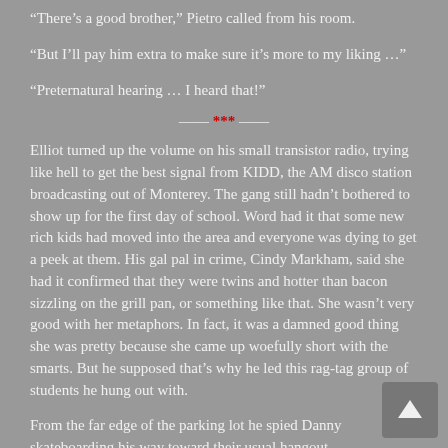“There’s a good brother,” Pietro called from his room.
“But I’ll pay him extra to make sure it’s more to my liking …”
“Preternatural hearing … I heard that!”
*** (section divider)
Elliot turned up the volume on his small transistor radio, trying like hell to get the best signal from KIDD, the AM disco station broadcasting out of Monterey. The gang still hadn’t bothered to show up for the first day of school. Word had it that some new rich kids had moved into the area and everyone was dying to get a peek at them. His gal pal in crime, Cindy Markham, said she had it confirmed that they were twins and hotter than bacon sizzling on the grill pan, or something like that. She wasn’t very good with her metaphors. In fact, it was a damned good thing she was pretty because she came up woefully short with the smarts. But he supposed that’s why he led this rag-tag group of students he hung out with.
From the far edge of the parking lot he spied Danny skateboarding his way toward their usual hangout.